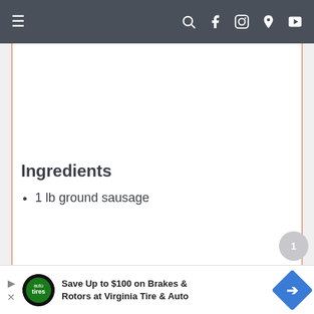Navigation bar with hamburger menu and social icons (search, facebook, instagram, pinterest, youtube)
Ingredients
1 lb ground sausage
Save Up to $100 on Brakes & Rotors at Virginia Tire & Auto